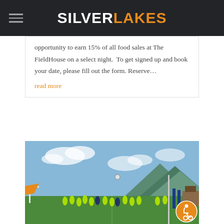SILVERLAKES
opportunity to earn 15% of all food sales at The FieldHouse on a select night.  To get signed up and book your date, please fill out the form. Reserve…
read more
[Figure (photo): Soccer players in neon green uniforms playing on a grass field with mountains in the background under a blue sky.]